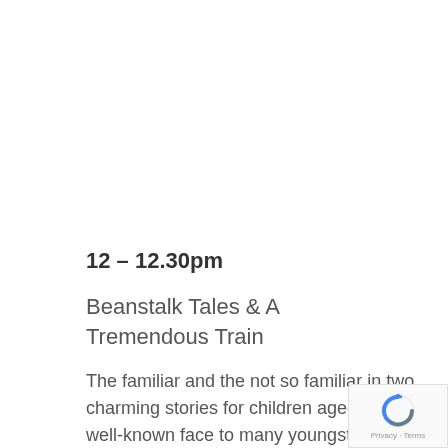12 – 12.30pm
Beanstalk Tales & A Tremendous Train
The familiar and the not so familiar in two charming stories for children aged 3-7. A well-known face to many youngsters from Ripon Cathedral and Cathedral Primary